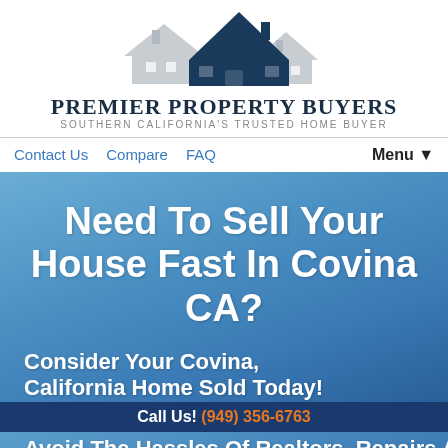[Figure (logo): Premier Property Buyers logo with stylized house roofline silhouette in dark navy and grey]
PREMIER PROPERTY BUYERS
SOUTHERN CALIFORNIA'S TRUSTED HOME BUYER
Contact Us   Compare   FAQ   Menu ▼
Need To Sell Your House Fast In Covina CA?
Consider Your Covina, California Home Sold Today!
Call Us! (949) 356-6763
Avoid The Hassles Of Realtors, Repairs And...